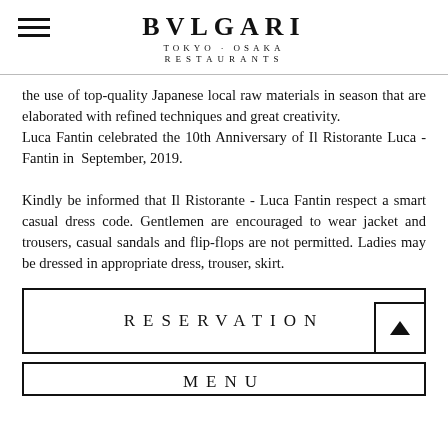BVLGARI TOKYO·OSAKA RESTAURANTS
the use of top-quality Japanese local raw materials in season that are elaborated with refined techniques and great creativity.
Luca Fantin celebrated the 10th Anniversary of Il Ristorante Luca - Fantin in September, 2019.

Kindly be informed that Il Ristorante - Luca Fantin respect a smart casual dress code. Gentlemen are encouraged to wear jacket and trousers, casual sandals and flip-flops are not permitted. Ladies may be dressed in appropriate dress, trouser, skirt.
RESERVATION
MENU